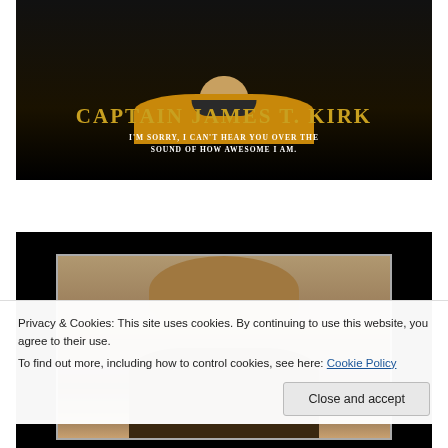[Figure (photo): Black background meme image featuring Captain James T. Kirk from Star Trek in a gold uniform, with text overlay reading 'CAPTAIN JAMES T. KIRK' and subtitle 'I'M SORRY, I CAN'T HEAR YOU OVER THE SOUND OF HOW AWESOME I AM.']
[Figure (photo): Second meme image with black background showing a framed photo of what appears to be a cat, partially obscured by cookie consent overlay.]
Privacy & Cookies: This site uses cookies. By continuing to use this website, you agree to their use.
To find out more, including how to control cookies, see here: Cookie Policy
Close and accept